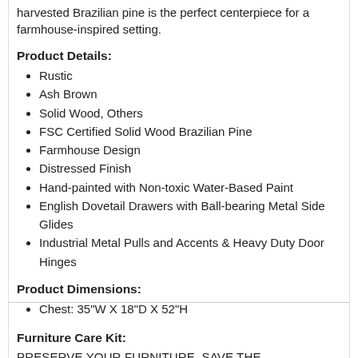harvested Brazilian pine is the perfect centerpiece for a farmhouse-inspired setting.
Product Details:
Rustic
Ash Brown
Solid Wood, Others
FSC Certified Solid Wood Brazilian Pine
Farmhouse Design
Distressed Finish
Hand-painted with Non-toxic Water-Based Paint
English Dovetail Drawers with Ball-bearing Metal Side Glides
Industrial Metal Pulls and Accents & Heavy Duty Door Hinges
Product Dimensions:
Chest: 35"W X 18"D X 52"H
Furniture Care Kit:
PRESERVE YOUR FURNITURE, SAVE THE